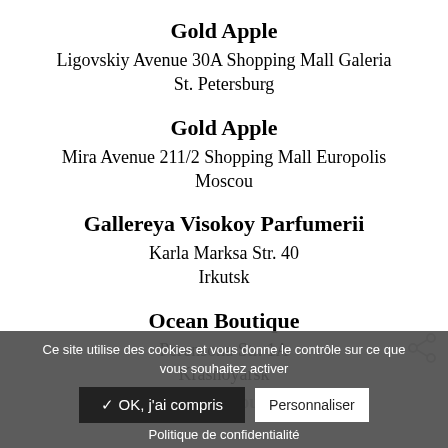Gold Apple
Ligovskiy Avenue 30A Shopping Mall Galeria
St. Petersburg
Gold Apple
Mira Avenue 211/2 Shopping Mall Europolis
Moscou
Gallereya Visokoy Parfumerii
Karla Marksa Str. 40
Irkutsk
Ocean Boutique
Perensona Str. 1A
Krasnoyarsk
Artemma Boutique
Ce site utilise des cookies et vous donne le contrôle sur ce que vous souhaitez activer
✓ OK, j'ai compris
Personnaliser
Politique de confidentialité